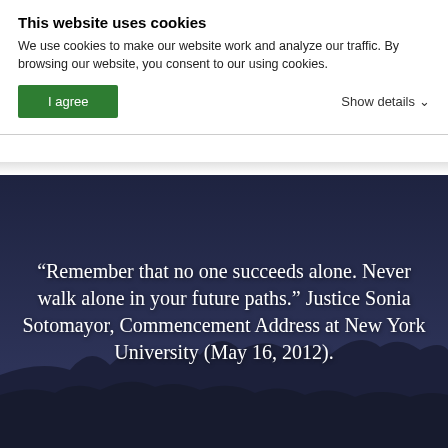This website uses cookies
We use cookies to make our website work and analyze our traffic. By browsing our website, you consent to our using cookies.
I agree   Show details
[Figure (screenshot): Dark blue/navy background image with silhouette of trees and landscape, overlaid with large white serif quote text: “Remember that no one succeeds alone. Never walk alone in your future paths.” Justice Sonia Sotomayor, Commencement Address at New York University (May 16, 2012).]